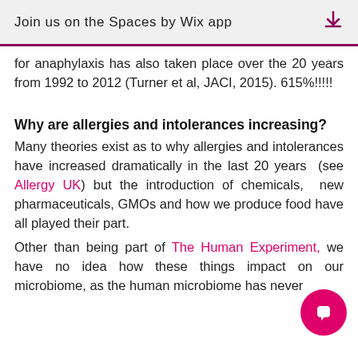Join us on the Spaces by Wix app ↓
for anaphylaxis has also taken place over the 20 years from 1992 to 2012 (Turner et al, JACI, 2015). 615%!!!!!
Why are allergies and intolerances increasing?
Many theories exist as to why allergies and intolerances have increased dramatically in the last 20 years (see Allergy UK) but the introduction of chemicals, new pharmaceuticals, GMOs and how we produce food have all played their part.
Other than being part of The Human Experiment, we have no idea how these things impact on our microbiome, as the human microbiome has never